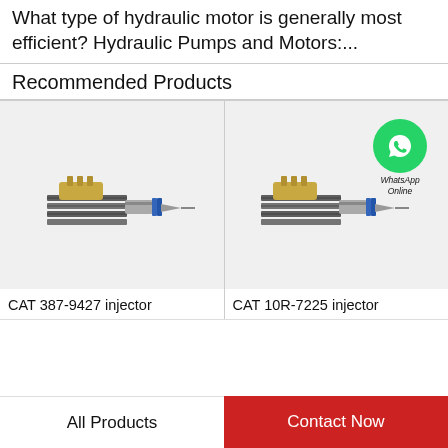What type of hydraulic motor is generally most efficient? Hydraulic Pumps and Motors:...
Recommended Products
[Figure (photo): Photo of CAT 387-9427 fuel injector, a metal injector with spring coils and needle tip]
CAT 387-9427 injector
[Figure (photo): Photo of CAT 10R-7225 fuel injector with WhatsApp Online badge overlay]
CAT 10R-7225 injector
All Products
Contact Now